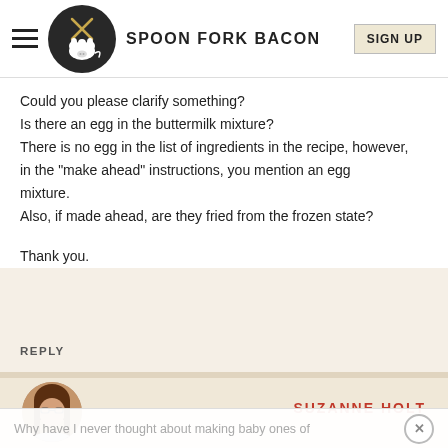SPOON FORK BACON | SIGN UP
Could you please clarify something?
Is there an egg in the buttermilk mixture?
There is no egg in the list of ingredients in the recipe, however,
in the "make ahead" instructions, you mention an egg mixture.
Also, if made ahead, are they fried from the frozen state?

Thank you.
REPLY
[Figure (photo): Avatar photo of Suzanne Holt, a woman with brown hair and glasses]
SUZANNE HOLT
Why have I never thought about making baby ones of